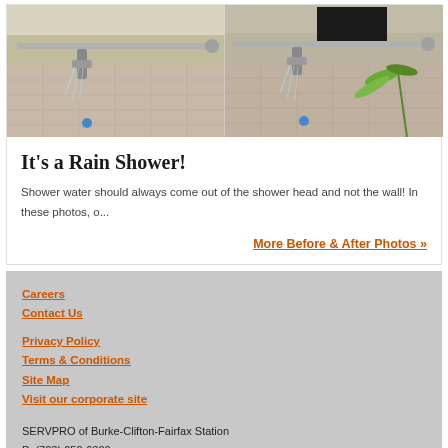[Figure (photo): Two side-by-side bathroom photos showing water spraying from shower pipe connection at the wall rather than from the shower head. Left photo shows the leaking pipe, right photo shows a similar view with a plant visible.]
It's a Rain Shower!
Shower water should always come out of the shower head and not the wall!  In these photos, o...
More Before & After Photos »
Careers
Contact Us
Privacy Policy
Terms & Conditions
Site Map
Visit our corporate site
SERVPRO of Burke-Clifton-Fairfax Station
P: (703) 250-6300
14101 Parke Long Court, Suite K
Chantilly, VA 20151